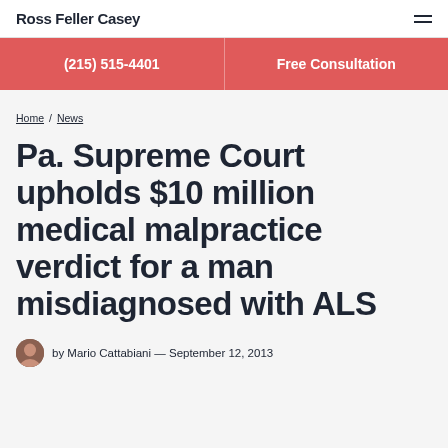Ross Feller Casey
(215) 515-4401 | Free Consultation
Home / News
Pa. Supreme Court upholds $10 million medical malpractice verdict for a man misdiagnosed with ALS
by Mario Cattabiani — September 12, 2013